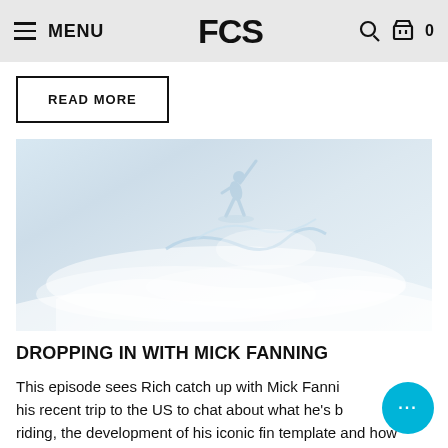MENU | FCS | 0
READ MORE
[Figure (photo): A surfer performing a dramatic aerial maneuver on a wave, photo is very light/washed out with pale blue-grey tones]
DROPPING IN WITH MICK FANNING
This episode sees Rich catch up with Mick Fanning after his recent trip to the US to chat about what he's been riding, the development of his iconic fin template and how